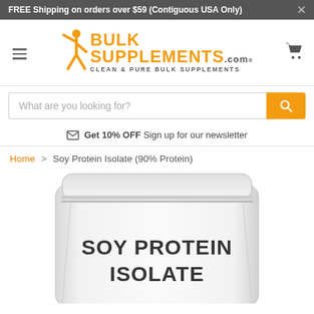FREE Shipping on orders over $59 (Contiguous USA Only)
[Figure (logo): BulkSupplements.com logo with orange figure and text 'BULK SUPPLEMENTS.com CLEAN & PURE BULK SUPPLEMENTS']
What are you looking for?
Get 10% OFF Sign up for our newsletter
Home > Soy Protein Isolate (90% Protein)
[Figure (photo): White resealable pouch bag with bold dark text reading 'SOY PROTEIN ISOLATE']